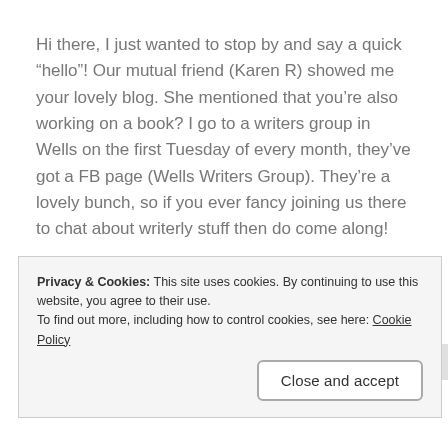Hi there, I just wanted to stop by and say a quick “hello”! Our mutual friend (Karen R) showed me your lovely blog. She mentioned that you’re also working on a book? I go to a writers group in Wells on the first Tuesday of every month, they’ve got a FB page (Wells Writers Group). They’re a lovely bunch, so if you ever fancy joining us there to chat about writerly stuff then do come along!
★ Like
Reply
Privacy & Cookies: This site uses cookies. By continuing to use this website, you agree to their use.
To find out more, including how to control cookies, see here: Cookie Policy
Close and accept